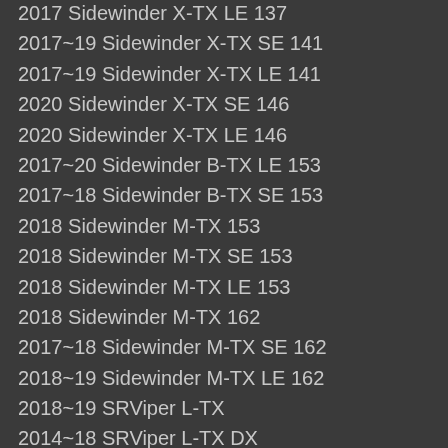2017 Sidewinder X-TX LE 137
2017~19 Sidewinder X-TX SE 141
2017~19 Sidewinder X-TX LE 141
2020 Sidewinder X-TX SE 146
2020 Sidewinder X-TX LE 146
2017~20 Sidewinder B-TX LE 153
2017~18 Sidewinder B-TX SE 153
2018 Sidewinder M-TX 153
2018 Sidewinder M-TX SE 153
2018 Sidewinder M-TX LE 153
2018 Sidewinder M-TX 162
2017~18 Sidewinder M-TX SE 162
2018~19 Sidewinder M-TX LE 162
2018~19 SRViper L-TX
2014~18 SRViper L-TX DX
2014~20 SRViper L-TX SE
2020 SRViper L-TX GT
2015~18 SRViper L-TX LE 1.25
2015 SRViper L-TX LE 1.75
2014~18 SRViper X-TX SE 141
2015 SRViper S-TX DX 141
2015~16 SRViper X-TX LE 141
2017 SRViper B-TX LE 153